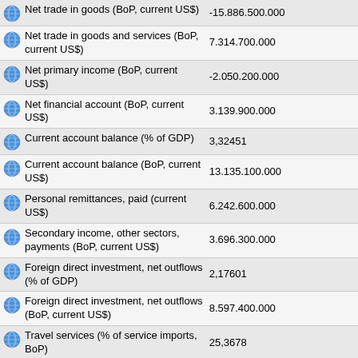| Indicator | Value |
| --- | --- |
| Net trade in goods (BoP, current US$) | -15.886.500.000 |
| Net trade in goods and services (BoP, current US$) | 7.314.700.000 |
| Net primary income (BoP, current US$) | -2.050.200.000 |
| Net financial account (BoP, current US$) | 3.139.900.000 |
| Current account balance (% of GDP) | 3,32451 |
| Current account balance (BoP, current US$) | 13.135.100.000 |
| Personal remittances, paid (current US$) | 6.242.600.000 |
| Secondary income, other sectors, payments (BoP, current US$) | 3.696.300.000 |
| Foreign direct investment, net outflows (% of GDP) | 2,17601 |
| Foreign direct investment, net outflows (BoP, current US$) | 8.597.400.000 |
| Travel services (% of service imports, BoP) | 25,3678 |
| Diabetes prevalence (% of population ages 20 to 79) | 9,7 |
| Transport services (% of service imports, BoP) | 24,6434 |
| Imports of goods, services and primary income (BoP, current US$) | 124.790.000.000 |
| Charges for the use of intellectual property, |  |